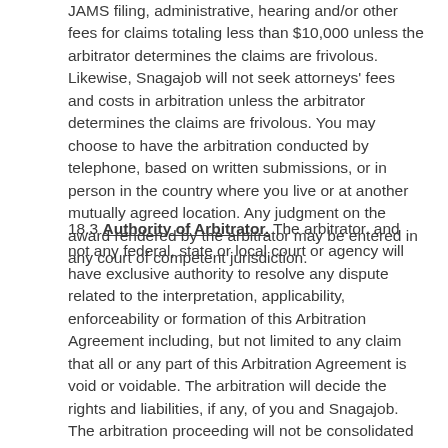JAMS filing, administrative, hearing and/or other fees for claims totaling less than $10,000 unless the arbitrator determines the claims are frivolous. Likewise, Snagajob will not seek attorneys' fees and costs in arbitration unless the arbitrator determines the claims are frivolous. You may choose to have the arbitration conducted by telephone, based on written submissions, or in person in the country where you live or at another mutually agreed location. Any judgment on the award rendered by the arbitrator may be entered in any court of competent jurisdiction.
18.3 Authority of Arbitrator. The arbitrator, and not any federal, state or local court or agency will have exclusive authority to resolve any dispute related to the interpretation, applicability, enforceability or formation of this Arbitration Agreement including, but not limited to any claim that all or any part of this Arbitration Agreement is void or voidable. The arbitration will decide the rights and liabilities, if any, of you and Snagajob. The arbitration proceeding will not be consolidated with any other matters or joined with any other cases or parties. The arbitrator will have the authority to grant motions dispositive of all or part of any claim. The arbitrator will have the authority to award monetary damages and to grant